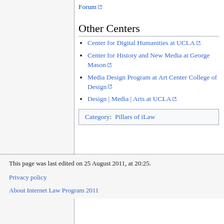Forum
Other Centers
Center for Digital Humanities at UCLA
Center for History and New Media at George Mason
Media Design Program at Art Center College of Design
Design | Media | Arts at UCLA
Category:  Pillars of iLaw
This page was last edited on 25 August 2011, at 20:25.
Privacy policy
About Internet Law Program 2011